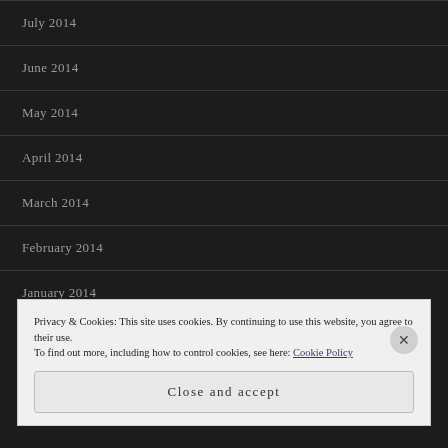July 2014
June 2014
May 2014
April 2014
March 2014
February 2014
January 2014
Privacy & Cookies: This site uses cookies. By continuing to use this website, you agree to their use.
To find out more, including how to control cookies, see here: Cookie Policy
Close and accept